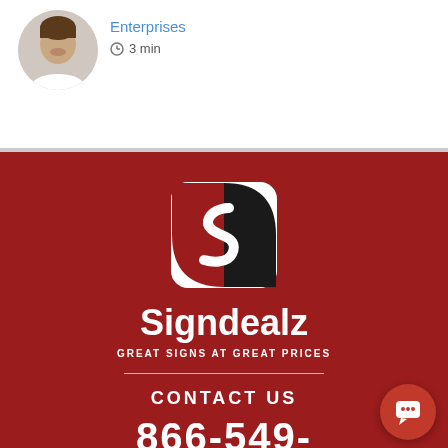[Figure (photo): Circular avatar photo of a man smiling]
Enterprises
3 min
[Figure (logo): Signdealz logo: rounded square icon with black and red S-shaped design, white text 'Signdealz' below, tagline 'GREAT SIGNS AT GREAT PRICES']
CONTACT US
866-549-